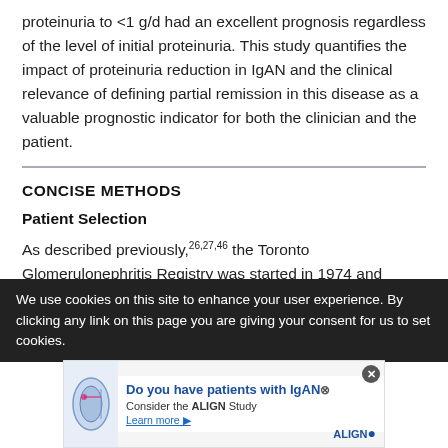proteinuria to <1 g/d had an excellent prognosis regardless of the level of initial proteinuria. This study quantifies the impact of proteinuria reduction in IgAN and the clinical relevance of defining partial remission in this disease as a valuable prognostic indicator for both the clinician and the patient.
CONCISE METHODS
Patient Selection
As described previously,26,27,46 the Toronto Glomerulonephritis Registry was started in 1974 and includes all biopsy-proven cases of GN from the greater Toronto area. Patient information is documented
We use cookies on this site to enhance your user experience. By clicking any link on this page you are giving your consent for us to set cookies.
[Figure (infographic): Ad banner: Do you have patients with IgAN? Consider the ALIGN Study. Learn more. With kidney illustration and ALIGN logo.]